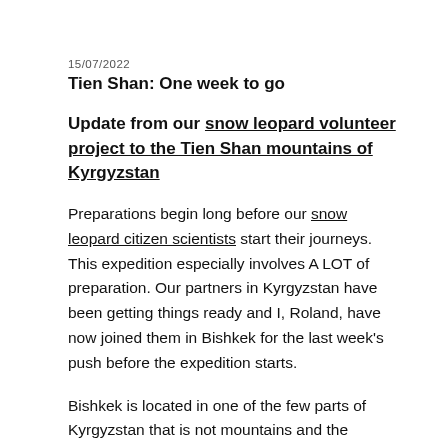15/07/2022
Tien Shan: One week to go
Update from our snow leopard volunteer project to the Tien Shan mountains of Kyrgyzstan
Preparations begin long before our snow leopard citizen scientists start their journeys. This expedition especially involves A LOT of preparation. Our partners in Kyrgyzstan have been getting things ready and I, Roland, have now joined them in Bishkek for the last week's push before the expedition starts.
Bishkek is located in one of the few parts of Kyrgyzstan that is not mountains and the weather here is hot hot hot and hazy. We will be heading up into the mountains in a few days to set up base camp and recce our